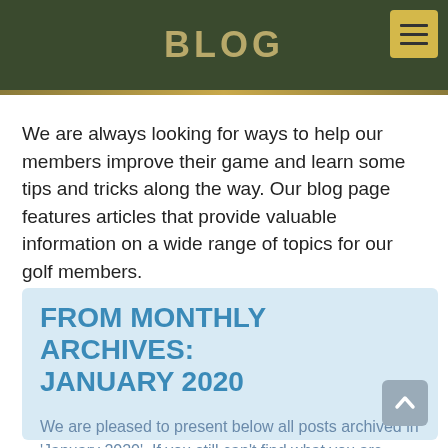BLOG
We are always looking for ways to help our members improve their game and learn some tips and tricks along the way. Our blog page features articles that provide valuable information on a wide range of topics for our golf members.
FROM MONTHLY ARCHIVES: JANUARY 2020
We are pleased to present below all posts archived in 'January 2020'. If you still can't find what you are looking for, try using the search box.